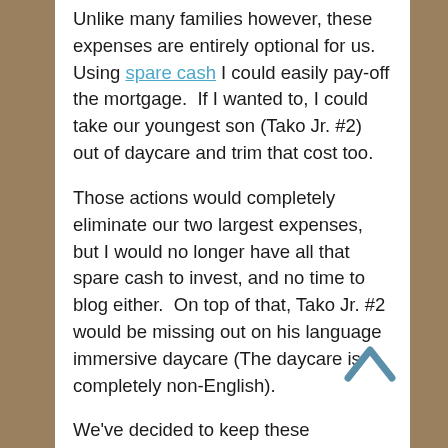Unlike many families however, these expenses are entirely optional for us.  Using spare cash I could easily pay-off the mortgage.  If I wanted to, I could take our youngest son (Tako Jr. #2) out of daycare and trim that cost too.
Those actions would completely eliminate our two largest expenses, but I would no longer have all that spare cash to invest, and no time to blog either.  On top of that, Tako Jr. #2 would be missing out on his language immersive daycare (The daycare is completely non-English).
We've decided to keep these expenses for the time being.
Internet